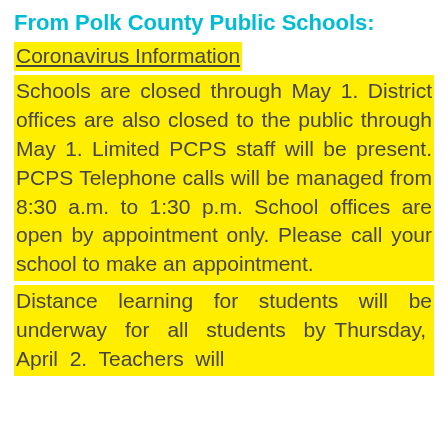From Polk County Public Schools:
Coronavirus Information
Schools are closed through May 1. District offices are also closed to the public through May 1. Limited PCPS staff will be present. PCPS Telephone calls will be managed from 8:30 a.m. to 1:30 p.m. School offices are open by appointment only. Please call your school to make an appointment.
Distance learning for students will be underway for all students by Thursday, April 2. Teachers will